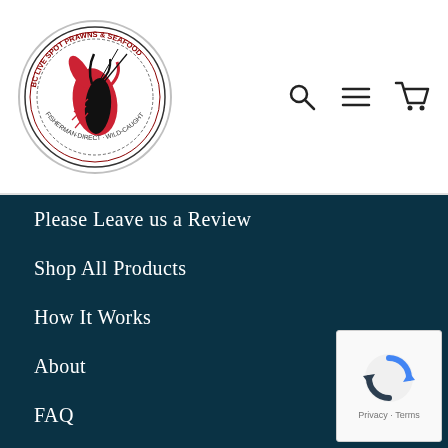[Figure (logo): BC Live Spot Prawns & Seafood circular logo with prawn illustration and text around the border]
[Figure (other): Navigation icons: search magnifier, hamburger menu, shopping cart]
Please Leave us a Review
Shop All Products
How It Works
About
FAQ
Contact
Gift Cards
Wholesale
Blog
Return Policy
[Figure (other): reCAPTCHA badge with Privacy and Terms links]